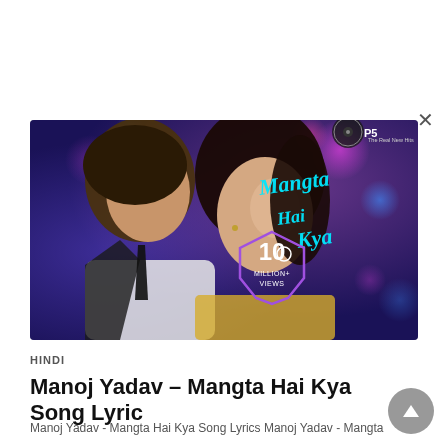[Figure (photo): Thumbnail image for 'Mangta Hai Kya' song showing a romantic couple (man and woman) against a purple bokeh background with 'Mangta Hai Kya' written in stylized script and '10 Million+ Views' badge. Tips5 logo in top right corner.]
HINDI
Manoj Yadav – Mangta Hai Kya Song Lyrics
Manoj Yadav - Mangta Hai Kya Song Lyrics Manoj Yadav - Mangta